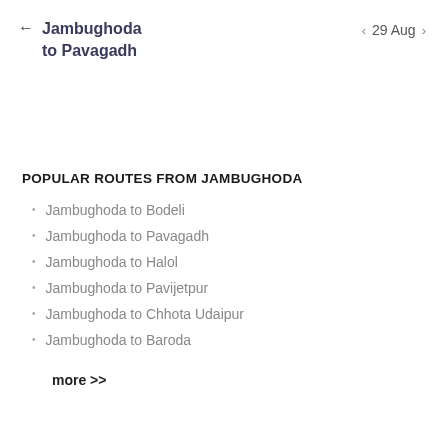Jambughoda to Pavagadh  ← | 29 Aug
POPULAR ROUTES FROM JAMBUGHODA
Jambughoda to Bodeli
Jambughoda to Pavagadh
Jambughoda to Halol
Jambughoda to Pavijetpur
Jambughoda to Chhota Udaipur
Jambughoda to Baroda
more >>